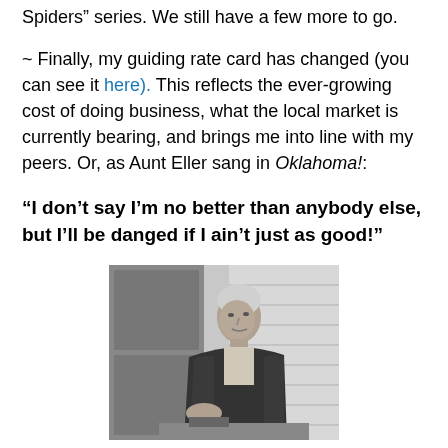Spiders" series. We still have a few more to go.
~ Finally, my guiding rate card has changed (you can see it here). This reflects the ever-growing cost of doing business, what the local market is currently bearing, and brings me into line with my peers. Or, as Aunt Eller sang in Oklahoma!:
“I don’t say I’m no better than anybody else, but I’ll be danged if I ain’t just as good!”
[Figure (photo): Black and white photograph of an older woman, likely Aunt Eller, seated and looking to the side, wearing a dark knit cardigan over a light patterned blouse.]